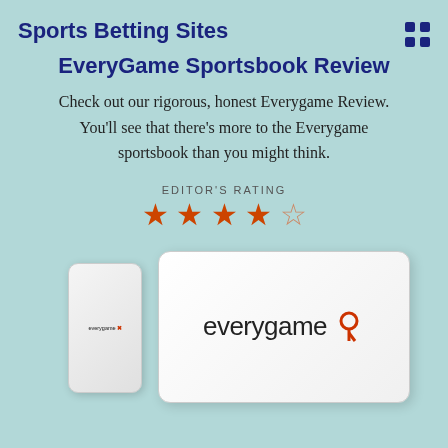Sports Betting Sites
EveryGame Sportsbook Review
Check out our rigorous, honest Everygame Review. You’ll see that there’s more to the Everygame sportsbook than you might think.
EDITOR'S RATING
[Figure (infographic): 3.5 out of 5 stars rating — four orange filled stars and one empty star]
[Figure (photo): Everygame logo displayed on a tablet device, with a phone showing the same logo in the foreground]